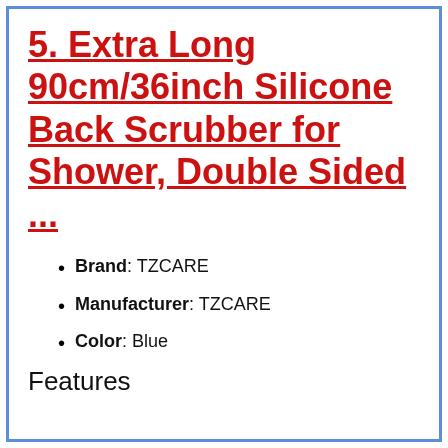5. Extra Long 90cm/36inch Silicone Back Scrubber for Shower, Double Sided ...
Brand: TZCARE
Manufacturer: TZCARE
Color: Blue
Features